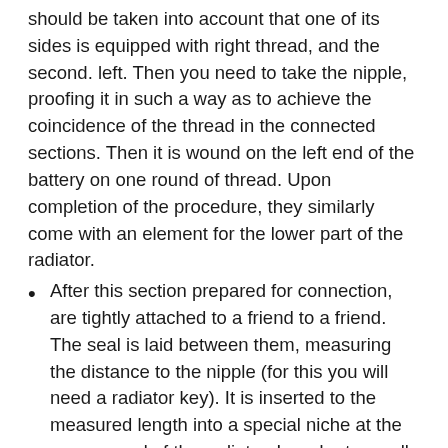should be taken into account that one of its sides is equipped with right thread, and the second. left. Then you need to take the nipple, proofing it in such a way as to achieve the coincidence of the thread in the connected sections. Then it is wound on the left end of the battery on one round of thread. Upon completion of the procedure, they similarly come with an element for the lower part of the radiator.
After this section prepared for connection, are tightly attached to a friend to a friend. The seal is laid between them, measuring the distance to the nipple (for this you will need a radiator key). It is inserted to the measured length into a special niche at the reverse end of the radiator. In order to scroll the radiator key, a pipeline is used.
Twisting the nipple, it is important to ensure that it simultaneously plunges inside the opposite battery sections. At the end of this procedure, three full turns are made using the radiator key. This helps